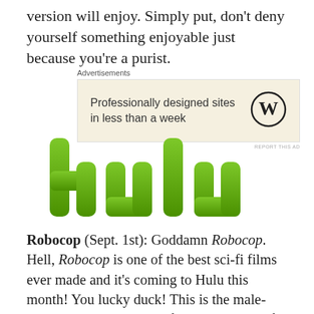version will enjoy. Simply put, don't deny yourself something enjoyable just because you're a purist.
[Figure (screenshot): WordPress advertisement banner with text 'Professionally designed sites in less than a week' and WordPress logo on beige background]
[Figure (logo): Hulu logo in green gradient lettering on white background]
Robocop (Sept. 1st): Goddamn Robocop. Hell, Robocop is one of the best sci-fi films ever made and it's coming to Hulu this month! You lucky duck! This is the male-centered Rosetta Stone of what makes sci-fi such a male-dominated and -oriented genre. Made in the glorious 80's,